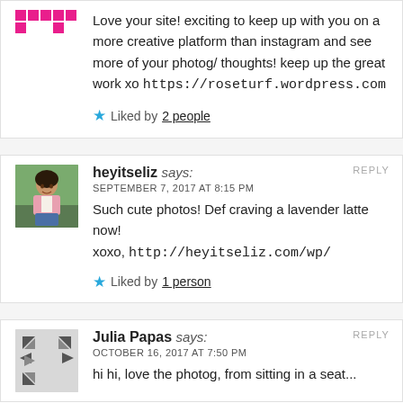Love your site! exciting to keep up with you on a more creative platform than instagram and see more of your photog/ thoughts! keep up the great work xo https://roseturf.wordpress.com
Liked by 2 people
heyitseliz says:
SEPTEMBER 7, 2017 AT 8:15 PM
Such cute photos! Def craving a lavender latte now!
xoxo, http://heyitseliz.com/wp/
Liked by 1 person
Julia Papas says:
OCTOBER 16, 2017 AT 7:50 PM